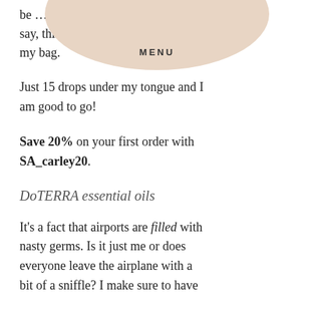[Figure (other): Beige/tan semicircle menu overlay at top center with the word MENU in bold spaced capitals]
be … say, this i… ned in my bag.
Just 15 drops under my tongue and I am good to go!
Save 20% on your first order with SA_carley20.
DoTERRA essential oils
It's a fact that airports are filled with nasty germs. Is it just me or does everyone leave the airplane with a bit of a sniffle? I make sure to have